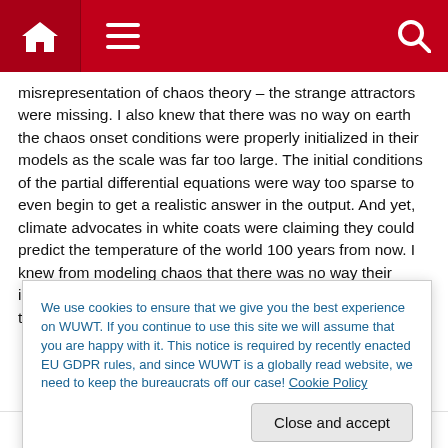WUWT navigation bar with home, menu, and search icons
misrepresentation of chaos theory – the strange attractors were missing. I also knew that there was no way on earth the chaos onset conditions were properly initialized in their models as the scale was far too large. The initial conditions of the partial differential equations were way too sparse to even begin to get a realistic answer in the output. And yet, climate advocates in white coats were claiming they could predict the temperature of the world 100 years from now. I knew from modeling chaos that there was no way their initial conditions were well enough bounded to even begin to get the answer
We use cookies to ensure that we give you the best experience on WUWT. If you continue to use this site we will assume that you are happy with it. This notice is required by recently enacted EU GDPR rules, and since WUWT is a globally read website, we need to keep the bureaucrats off our case! Cookie Policy
Close and accept
brent